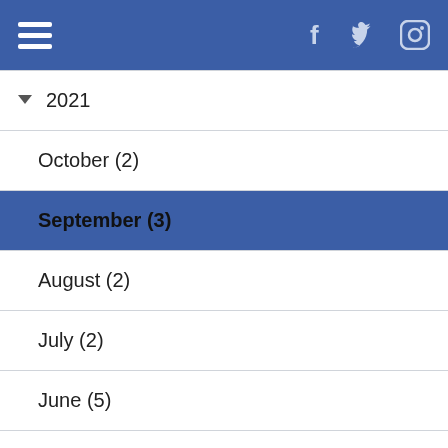Navigation bar with hamburger menu and social icons (Facebook, Twitter, Instagram)
2021
October (2)
September (3)
August (2)
July (2)
June (5)
May (7)
March (3)
February (5)